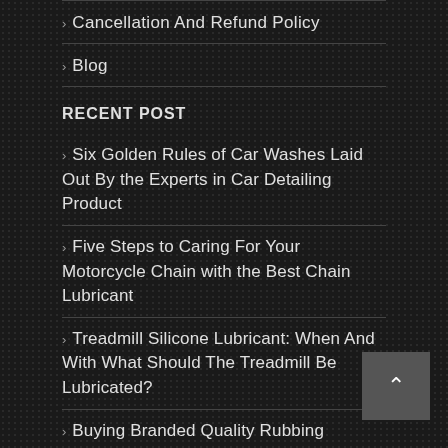Cancellation And Refund Policy
Blog
RECENT POST
Six Golden Rules of Car Washes Laid Out By the Experts in Car Detailing Product
Five Steps to Caring For Your Motorcycle Chain with the Best Chain Lubricant
Treadmill Silicone Lubricant: When And With What Should The Treadmill Be Lubricated?
Buying Branded Quality Rubbing Compound for Car